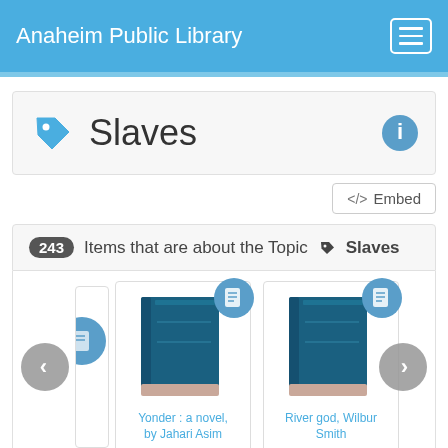Anaheim Public Library
Slaves
243 Items that are about the Topic Slaves
[Figure (screenshot): Book cover thumbnails for library items about the topic 'Slaves'. Shows two book cards with generic book icons: 'Yonder : a novel, by Jahari Asim' and 'River god, Wilbur Smith'.]
Yonder : a novel, by Jahari Asim
River god, Wilbur Smith